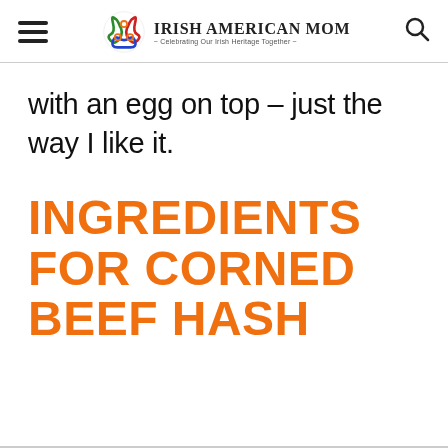Irish American Mom - Celebrating Our Irish Heritage Together
with an egg on top – just the way I like it.
INGREDIENTS FOR CORNED BEEF HASH